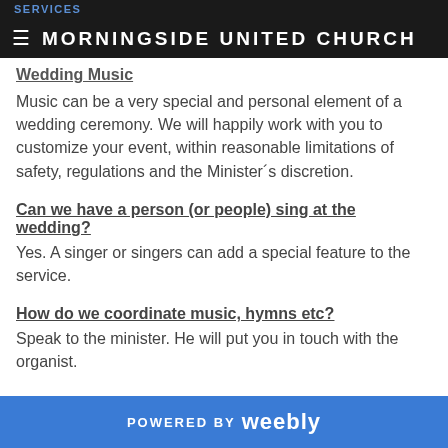MORNINGSIDE UNITED CHURCH
Wedding Music
Music can be a very special and personal element of a wedding ceremony. We will happily work with you to customize your event, within reasonable limitations of safety, regulations and the Minister´s discretion.
Can we have a person (or people) sing at the wedding?
Yes. A singer or singers can add a special feature to the service.
How do we coordinate music, hymns etc?
Speak to the minister.  He will put you in touch with the organist.
POWERED BY weebly